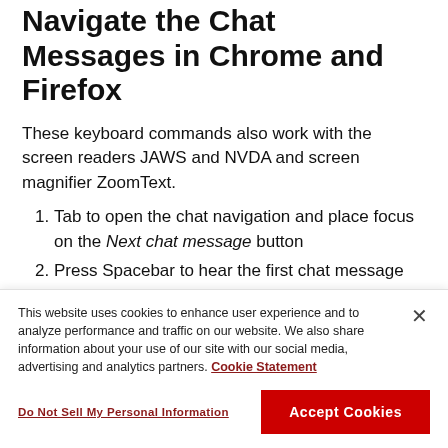Navigate the Chat Messages in Chrome and Firefox
These keyboard commands also work with the screen readers JAWS and NVDA and screen magnifier ZoomText.
Tab to open the chat navigation and place focus on the Next chat message button
Press Spacebar to hear the first chat message
This website uses cookies to enhance user experience and to analyze performance and traffic on our website. We also share information about your use of our site with our social media, advertising and analytics partners. Cookie Statement
Do Not Sell My Personal Information
Accept Cookies